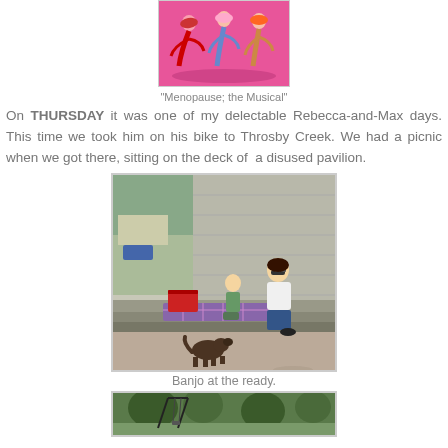[Figure (illustration): Cartoon illustration of women dancing/roller skating on a pink background — promotional image for 'Menopause; the Musical']
"Menopause; the Musical"
On THURSDAY it was one of my delectable Rebecca-and-Max days. This time we took him on his bike to Throsby Creek. We had a picnic when we got there, sitting on the deck of a disused pavilion.
[Figure (photo): Photo of a woman and young child sitting on the steps/deck of a disused pavilion with a picnic blanket and red cooler box, and a small dog (Banjo) in the foreground on gravel.]
Banjo at the ready.
[Figure (photo): Photo partially visible at the bottom of the page, showing trees/park area.]